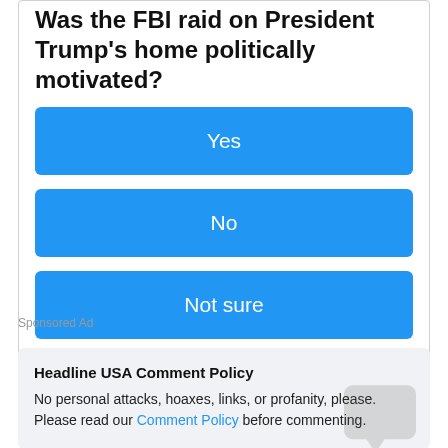Was the FBI raid on President Trump's home politically motivated?
Yes
No
Not sure
Sponsored Ad
Headline USA Comment Policy
No personal attacks, hoaxes, links, or profanity, please.
Please read our Comment Policy before commenting.